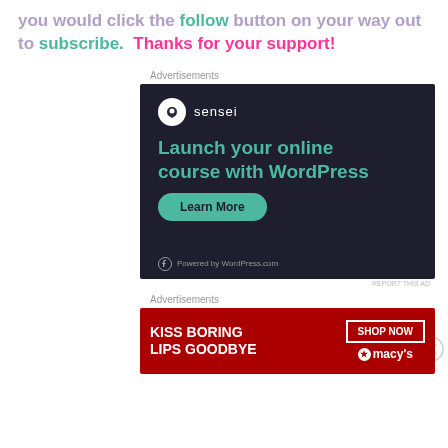you would click the follow button on your way out to subscribe. Thanks for your support!
Advertisements
[Figure (advertisement): Sensei ad: Launch your online course with WordPress. Learn More button. Powered by WordPress.com. Dark background with teal text.]
Advertisements
[Figure (advertisement): Macy's ad: Kiss Boring Lips Goodbye. Shop Now button. Red background with woman's face.]